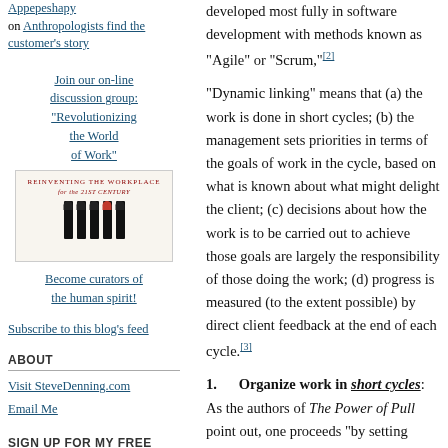Appepeshapy on Anthropologists find the customer's story
Join our on-line discussion group: "Revolutionizing the World of Work"
[Figure (illustration): Book cover for 'Reinventing the Workplace for the 21st Century' showing matchsticks with one red-headed match among black-headed ones]
Become curators of the human spirit!
Subscribe to this blog's feed
ABOUT
Visit SteveDenning.com
Email Me
SIGN UP FOR MY FREE NEWSLETTER
developed most fully in software development with methods known as "Agile" or "Scrum,"[2]
"Dynamic linking" means that (a) the work is done in short cycles; (b) the management sets priorities in terms of the goals of work in the cycle, based on what is known about what might delight the client; (c) decisions about how the work is to be carried out to achieve those goals are largely the responsibility of those doing the work; (d) progress is measured (to the extent possible) by direct client feedback at the end of each cycle.[3]
1.    Organize work in short cycles: As the authors of The Power of Pull point out, one proceeds "by setting things up in short, consecutive waves of effort, iterations that foster deep, trust-based relationships among the participants… Knowledge begins to flow and team begins to